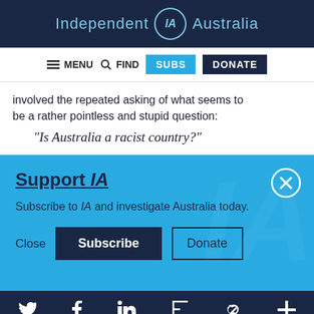Independent IA Australia
[Figure (screenshot): Navigation bar with MENU, FIND, SUBS, DONATE buttons]
involved the repeated asking of what seems to be a rather pointless and stupid question:
"Is Australia a racist country?"
Support IA
Subscribe to IA and investigate Australia today.
Close  Subscribe  Donate
Twitter Facebook LinkedIn Flipboard Link Plus